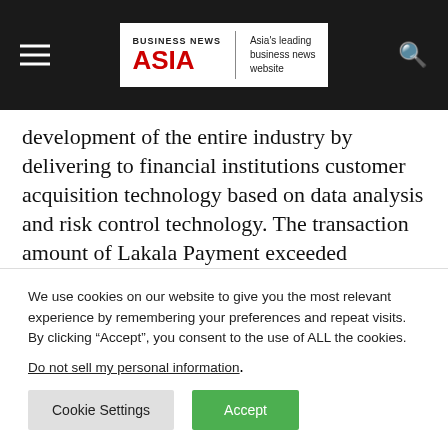BUSINESS NEWS ASIA — Asia's leading business news website
development of the entire industry by delivering to financial institutions customer acquisition technology based on data analysis and risk control technology. The transaction amount of Lakala Payment exceeded RMB1,700 billion, a year-on-year increase of over 100%. Lakala Payment operations branched out to over 330 cities across China, covering more than 15 million merchants and over
We use cookies on our website to give you the most relevant experience by remembering your preferences and repeat visits. By clicking “Accept”, you consent to the use of ALL the cookies. Do not sell my personal information.